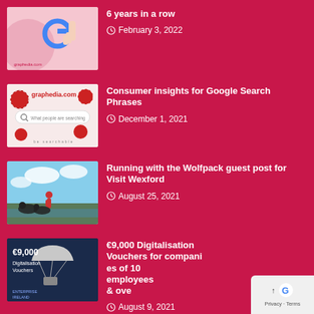[Figure (photo): Thumbnail image with Google logo and graphedia.com branding, hand pointing]
6 years in a row
February 3, 2022
[Figure (photo): Thumbnail image with graphedia.com Christmas themed search bar graphic, 'What people are searching']
Consumer insights for Google Search Phrases
December 1, 2021
[Figure (photo): Thumbnail photo of person with black dogs outdoors near water]
Running with the Wolfpack guest post for Visit Wexford
August 25, 2021
[Figure (photo): Thumbnail image with €9,000 Digitalisation Vouchers Enterprise Ireland graphic with parachute]
€9,000 Digitalisation Vouchers for companies of 10 employees & over
August 9, 2021